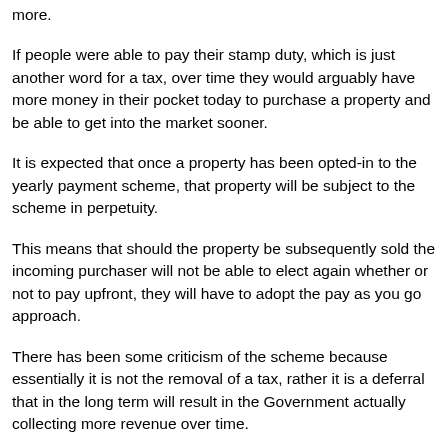more.
If people were able to pay their stamp duty, which is just another word for a tax, over time they would arguably have more money in their pocket today to purchase a property and be able to get into the market sooner.
It is expected that once a property has been opted-in to the yearly payment scheme, that property will be subject to the scheme in perpetuity.
This means that should the property be subsequently sold the incoming purchaser will not be able to elect again whether or not to pay upfront, they will have to adopt the pay as you go approach.
There has been some criticism of the scheme because essentially it is not the removal of a tax, rather it is a deferral that in the long term will result in the Government actually collecting more revenue over time.